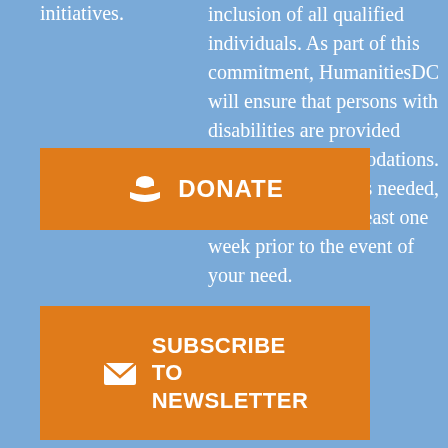initiatives.
[Figure (other): Orange DONATE button with dollar/hand icon]
[Figure (other): Orange SUBSCRIBE TO NEWSLETTER button with envelope icon]
inclusion of all qualified individuals. As part of this commitment, HumanitiesDC will ensure that persons with disabilities are provided reasonable accommodations. If accommodation is needed, please notify us at least one week prior to the event of your need.